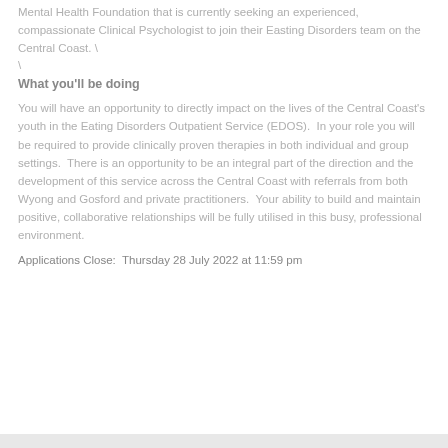Mental Health Foundation that is currently seeking an experienced, compassionate Clinical Psychologist to join their Easting Disorders team on the Central Coast. \
\
What you'll be doing
You will have an opportunity to directly impact on the lives of the Central Coast's youth in the Eating Disorders Outpatient Service (EDOS).  In your role you will be required to provide clinically proven therapies in both individual and group settings.  There is an opportunity to be an integral part of the direction and the development of this service across the Central Coast with referrals from both Wyong and Gosford and private practitioners.  Your ability to build and maintain positive, collaborative relationships will be fully utilised in this busy, professional environment.
Applications Close:  Thursday 28 July 2022 at 11:59 pm